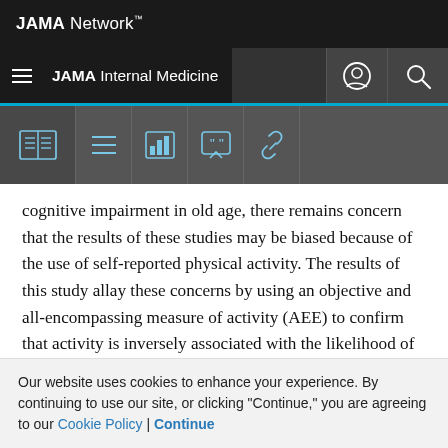JAMA Network
JAMA Internal Medicine
[Figure (screenshot): Toolbar with icons: book/read, menu/list, bar chart, quote/comment, link]
cognitive impairment in old age, there remains concern that the results of these studies may be biased because of the use of self-reported physical activity. The results of this study allay these concerns by using an objective and all-encompassing measure of activity (AEE) to confirm that activity is inversely associated with the likelihood of developing incident cognitive impairment. Indeed, in this study, AEE had a strong dose-response relationship with
Our website uses cookies to enhance your experience. By continuing to use our site, or clicking "Continue," you are agreeing to our Cookie Policy | Continue